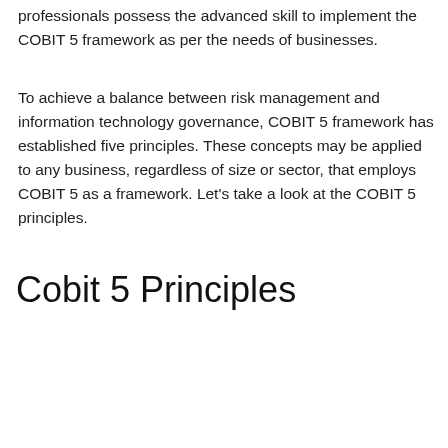professionals possess the advanced skill to implement the COBIT 5 framework as per the needs of businesses.
To achieve a balance between risk management and information technology governance, COBIT 5 framework has established five principles. These concepts may be applied to any business, regardless of size or sector, that employs COBIT 5 as a framework. Let's take a look at the COBIT 5 principles.
Cobit 5 Principles